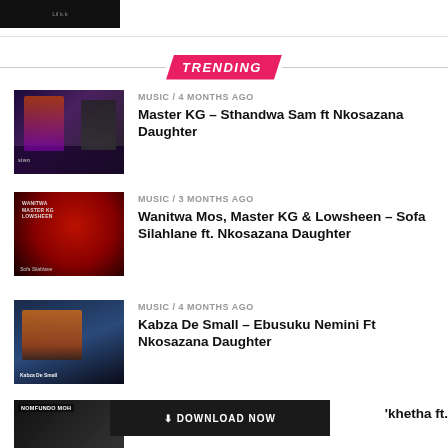[Figure (photo): Small thumbnail image at top left, dark photo]
TRENDING
[Figure (photo): Album art thumbnail for Master KG – Sthandwa Sam ft Nkosazana Daughter]
MUSIC / 4 months ago
Master KG – Sthandwa Sam ft Nkosazana Daughter
[Figure (photo): Album art thumbnail for Wanitwa Mos, Master KG & Lowsheen – Sofa Silahlane ft. Nkosazana Daughter]
MUSIC / 3 months ago
Wanitwa Mos, Master KG & Lowsheen – Sofa Silahlane ft. Nkosazana Daughter
[Figure (photo): Photo thumbnail for Kabza De Small – Ebusuku Nemini Ft Nkosazana Daughter]
MUSIC / 4 months ago
Kabza De Small – Ebusuku Nemini Ft Nkosazana Daughter
[Figure (photo): Partial thumbnail at bottom with Nomfundo Moh label]
↓ DOWNLOAD NOW
'khetha ft.